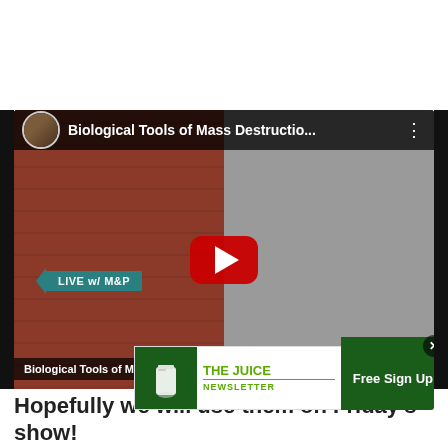[Figure (screenshot): YouTube video thumbnail showing two people wearing tin foil hats. Title bar reads 'Biological Tools of Mass Destructio...' with 'LIVE w/ M&P' badge. Bottom caption reads 'Biological Tools of Mass Destruction'. RTD LIVE News badge visible bottom right. Below the video is an advertisement for 'The Juice Newsletter' with a 'Free Sign Up' button.]
Hopefully we will use them on Friday's show!